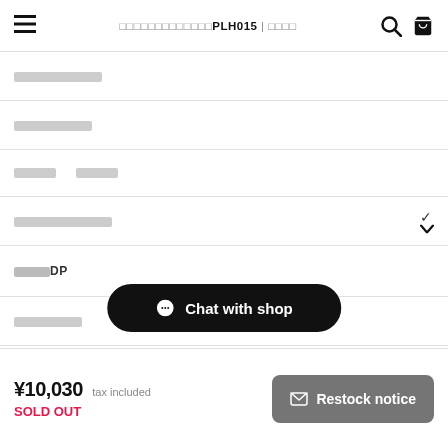□□□□□□□□□□□□□PLH015 | □□□□
□□□□□□□□□□□
□□□□□□□□□□
□□□□□   □□□□□
□□□□□□□□□□□□□ ∨
□□□□□DP
□□□□□□□□□
□□□□□□□
Chat with shop
¥10,030 tax included
SOLD OUT
Restock notice